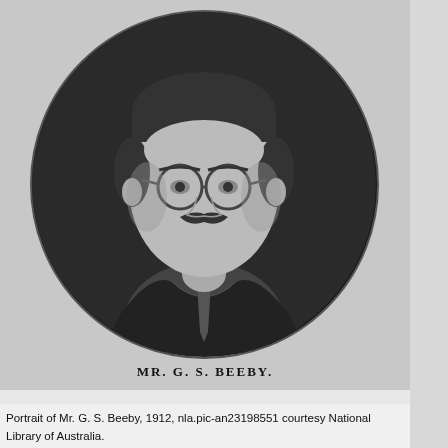[Figure (photo): Oval-framed black and white portrait photograph of Mr. G. S. Beeby, a man wearing glasses, a dark suit and tie, with a mustache, facing slightly left. The name 'MR. G. S. BEEBY.' is printed beneath the oval portrait in spaced capital letters.]
Portrait of Mr. G. S. Beeby, 1912, nla.pic-an23198551 courtesy National Library of Australia.